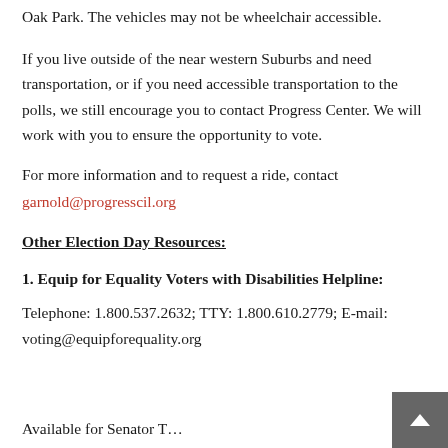Oak Park.  The vehicles may not be wheelchair accessible.
If you live outside of the near western Suburbs and need transportation, or if you need accessible transportation to the polls, we still encourage you to contact Progress Center.  We will work with you to ensure the opportunity to vote.
For more information and to request a ride, contact garnold@progresscil.org
Other Election Day Resources:
1. Equip for Equality Voters with Disabilities Helpline:
Telephone: 1.800.537.2632; TTY: 1.800.610.2779; E-mail: voting@equipforequality.org
Available for Senator T...